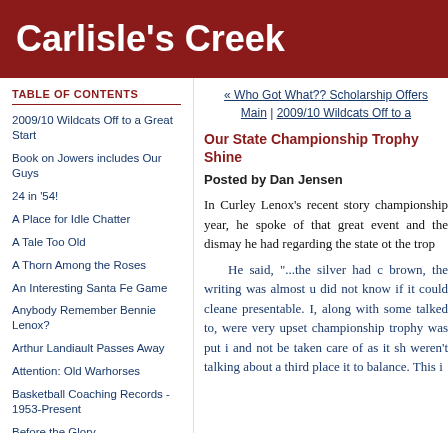Carlisle's Creek
TABLE OF CONTENTS
2009/10 Wildcats Off to a Great Start
Book on Jowers includes Our Guys
24 in '54!
A Place for Idle Chatter
A Tale Too Old
A Thorn Among the Roses
An Interesting Santa Fe Game
Anybody Remember Bennie Lenox?
Arthur Landiault Passes Away
Attention: Old Warhorses
Basketball Coaching Records - 1953-Present
Before the Glory
Bennie Lenox vs. Dickinson
« Who Got What?? Scholarship Offers
Main | 2009/10 Wildcats Off to a
Our State Championship Trophy Shine
Posted by Dan Jensen
In Curley Lenox's recent story championship year, he spoke of that great event and the dismay he had regarding the state ot the trop
He said, "...the silver had c brown, the writing was almost u did not know if it could cleane presentable. I, along with some talked to, were very upset championship trophy was put i and not be taken care of as it sh weren't talking about a third place it to balance. This i